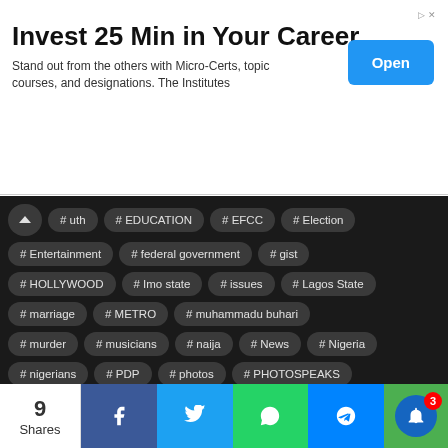[Figure (infographic): Advertisement banner: 'Invest 25 Min in Your Career' with Open button]
# uth   # EDUCATION   # EFCC   # Election
# Entertainment   # federal government   # gist
# HOLLYWOOD   # Imo state   # issues   # Lagos State
# marriage   # METRO   # muhammadu buhari
# murder   # musicians   # naija   # News   # Nigeria
# nigerians   # PDP   # photos   # PHOTOSPEAKS
# police   # Politics   # Presidency   # Relationship
# showbiz   # sports   # United States   # Video
# videos   # World
9 Shares